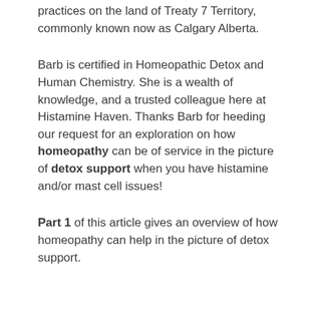practices on the land of Treaty 7 Territory, commonly known now as Calgary Alberta.
Barb is certified in Homeopathic Detox and Human Chemistry. She is a wealth of knowledge, and a trusted colleague here at Histamine Haven. Thanks Barb for heeding our request for an exploration on how homeopathy can be of service in the picture of detox support when you have histamine and/or mast cell issues!
Part 1 of this article gives an overview of how homeopathy can help in the picture of detox support.